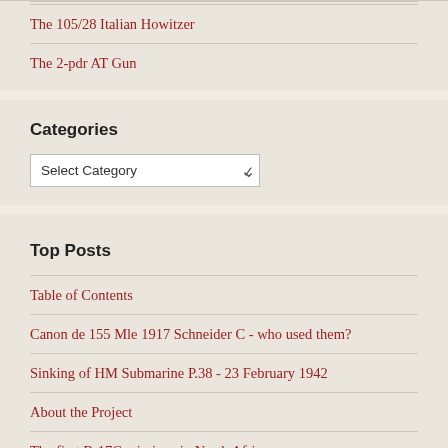The 105/28 Italian Howitzer
The 2-pdr AT Gun
Categories
Select Category
Top Posts
Table of Contents
Canon de 155 Mle 1917 Schneider C - who used them?
Sinking of HM Submarine P.38 - 23 February 1942
About the Project
The first B-17C missions in North Africa
The Tobruk Breakout from the Other Side of the Hill
German Firing Trials against the Matilda II